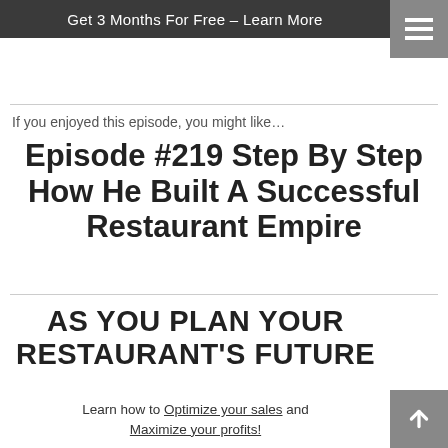Get 3 Months For Free – Learn More
If you enjoyed this episode, you might like…
Episode #219 Step By Step How He Built A Successful Restaurant Empire
AS YOU PLAN YOUR RESTAURANT'S FUTURE
Learn how to Optimize your sales and Maximize your profits!